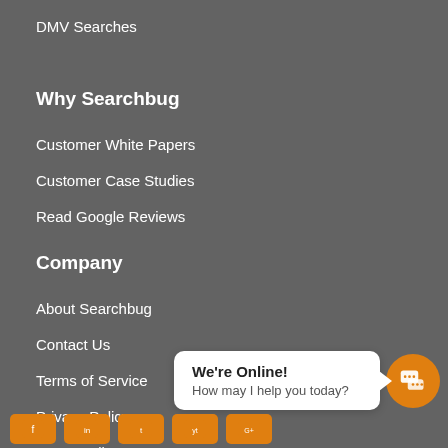DMV Searches
Why Searchbug
Customer White Papers
Customer Case Studies
Read Google Reviews
Company
About Searchbug
Contact Us
Terms of Service
Privacy Policy
CCPA Policy
Do Not Sell My Info
[Figure (other): Chat widget popup with orange chat button. Shows 'We're Online! How may I help you today?' in a white speech bubble.]